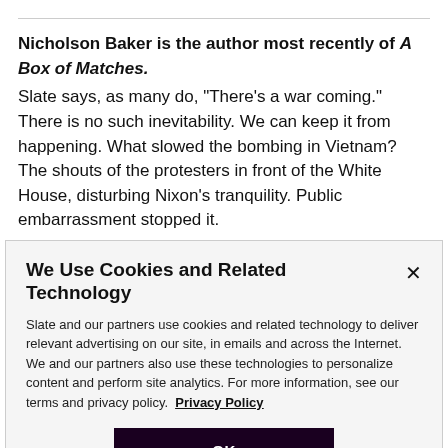Nicholson Baker is the author most recently of A Box of Matches. Slate says, as many do, “There’s a war coming.” There is no such inevitability. We can keep it from happening. What slowed the bombing in Vietnam? The shouts of the protesters in front of the White House, disturbing Nixon’s tranquility. Public embarrassment stopped it.
We Use Cookies and Related Technology

Slate and our partners use cookies and related technology to deliver relevant advertising on our site, in emails and across the Internet. We and our partners also use these technologies to personalize content and perform site analytics. For more information, see our terms and privacy policy. Privacy Policy

OK